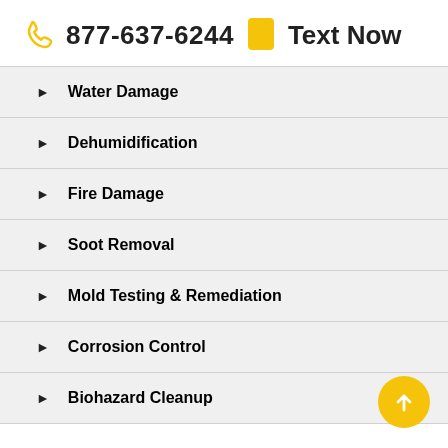877-637-6244   Text Now
Water Damage
Dehumidification
Fire Damage
Soot Removal
Mold Testing & Remediation
Corrosion Control
Biohazard Cleanup